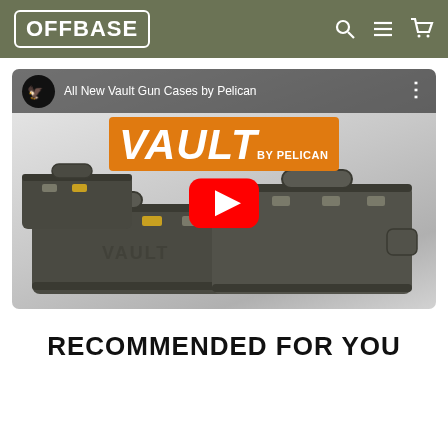OFFBASE
[Figure (screenshot): YouTube video thumbnail for 'All New Vault Gun Cases by Pelican' showing Pelican Vault gun cases with play button overlay, Vault by Pelican logo in orange]
RECOMMENDED FOR YOU